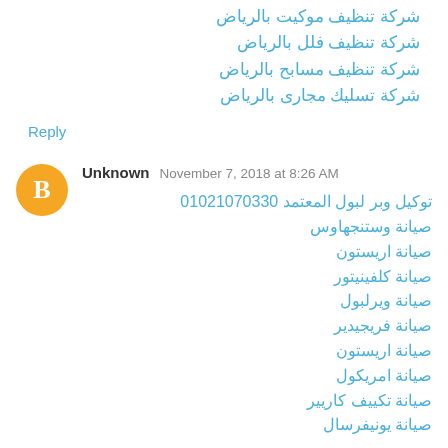شركة تنظيف موكيت بالرياض
شركة تنظيف فلل بالرياض
شركة تنظيف مسابح بالرياض
شركة تسليك مجارى بالرياض
Reply
Unknown  November 7, 2018 at 8:26 AM
توكيل وبر لبول المعتمد 01021070330
صيانة وستنجهاوس
صيانة اريستون
صيانة كلفينيتور
صيانة ويرلبول
صيانة فريجيدير
صيانة اريستون
صيانة امريكول
صيانة تكييف كاريير
صيانة يونيفرسال
Reply